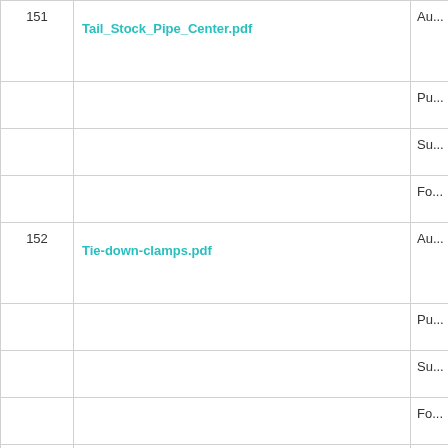| # | Name | Type |
| --- | --- | --- |
| 151 | Tail_Stock_Pipe_Center.pdf | Au... |
|  |  | Pu... |
|  |  | Su... |
|  |  | Fo... |
| 152 | Tie-down-clamps.pdf | Au... |
|  |  | Pu... |
|  |  | Su... |
|  |  | Fo... |
| 153 | TIG-Welder.pdf | Au... |
|  |  | Pu... |